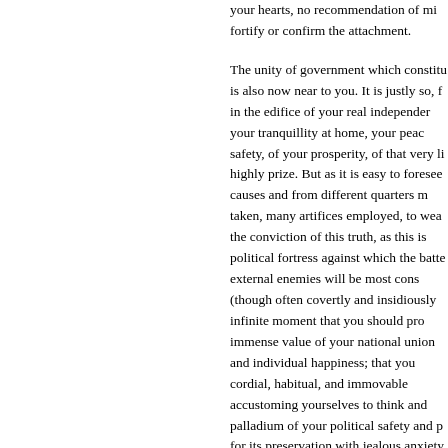your hearts, no recommendation of mi... fortify or confirm the attachment.

The unity of government which constitu... is also now near to you. It is justly so, f... in the edifice of your real independen... your tranquillity at home, your peac... safety, of your prosperity, of that very li... highly prize. But as it is easy to forsee... causes and from different quarters m... taken, many artifices employed, to wea... the conviction of this truth, as this is... political fortress against which the batte... external enemies will be most cons... (though often covertly and insidiously... infinite moment that you should pro... immense value of your national union... and individual happiness; that you ... cordial, habitual, and immovable ... accustoming yourselves to think and ... palladium of your political safety and p... for its preservation with jealous anxiety... whatever may suggest even a suspicio... event be abandoned, and indignantly ... first dawning of every attempt to alie... our country from the rest or to enfee... which now link together the various par...

For this you have every inducement... interest. Citizens by birth or choice of...